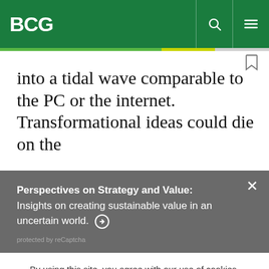BCG
into a tidal wave comparable to the PC or the internet. Transformational ideas could die on the
Perspectives on Strategy and Value: Insights on creating sustainable value in an uncertain world. →
protected by reCaptcha
By using this site, you agree with our use of cookies.
I consent to cookies
Want to know more?
Read our Cookie Policy